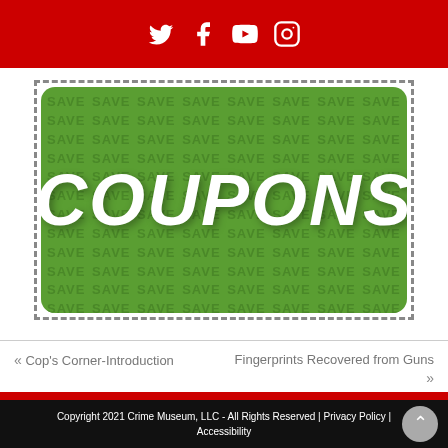Social media icons: Twitter, Facebook, YouTube, Instagram
[Figure (illustration): Green rounded rectangle banner with repeating 'SAVE' watermark text pattern and large white bold italic 'COUPONS' text, surrounded by a dashed border]
« Cop's Corner-Introduction
Fingerprints Recovered from Guns »
Copyright 2021 Crime Museum, LLC - All Rights Reserved | Privacy Policy | Accessibility